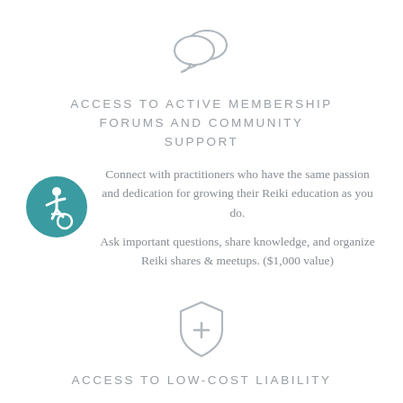[Figure (illustration): Two overlapping speech bubble icons in light gray outline style]
ACCESS TO ACTIVE MEMBERSHIP FORUMS AND COMMUNITY SUPPORT
[Figure (illustration): Teal circle with white wheelchair accessibility icon]
Connect with practitioners who have the same passion and dedication for growing their Reiki education as you do.
Ask important questions, share knowledge, and organize Reiki shares & meetups. ($1,000 value)
[Figure (illustration): Shield with plus/cross symbol in light gray outline style]
ACCESS TO LOW-COST LIABILITY